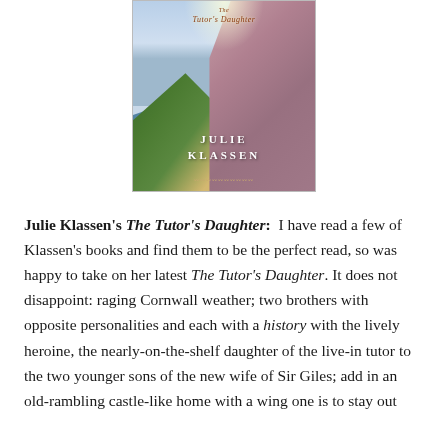[Figure (illustration): Book cover of 'The Tutor's Daughter' by Julie Klassen, showing a woman in a mauve/rose dress standing on a cliff overlooking a stormy sea, with ornate title text at the top and author name in large white letters near the bottom.]
Julie Klassen's The Tutor's Daughter: I have read a few of Klassen's books and find them to be the perfect read, so was happy to take on her latest The Tutor's Daughter. It does not disappoint: raging Cornwall weather; two brothers with opposite personalities and each with a history with the lively heroine, the nearly-on-the-shelf daughter of the live-in tutor to the two younger sons of the new wife of Sir Giles; add in an old-rambling castle-like home with a wing one is to stay out